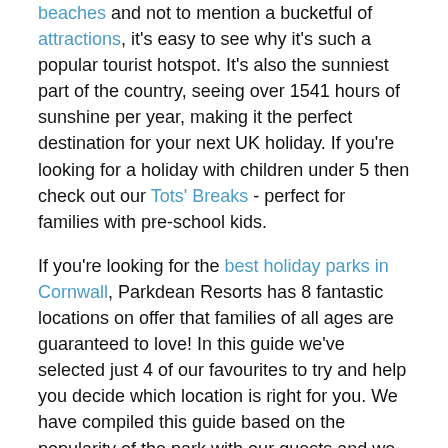beaches and not to mention a bucketful of attractions, it's easy to see why it's such a popular tourist hotspot. It's also the sunniest part of the country, seeing over 1541 hours of sunshine per year, making it the perfect destination for your next UK holiday. If you're looking for a holiday with children under 5 then check out our Tots' Breaks - perfect for families with pre-school kids.
If you're looking for the best holiday parks in Cornwall, Parkdean Resorts has 8 fantastic locations on offer that families of all ages are guaranteed to love! In this guide we've selected just 4 of our favourites to try and help you decide which location is right for you. We have compiled this guide based on the popularity of the park with our guests and we have highlighted in more detail why these are considered to be some of the best holiday parks in Cornwall.
1. Newquay Holiday Park,